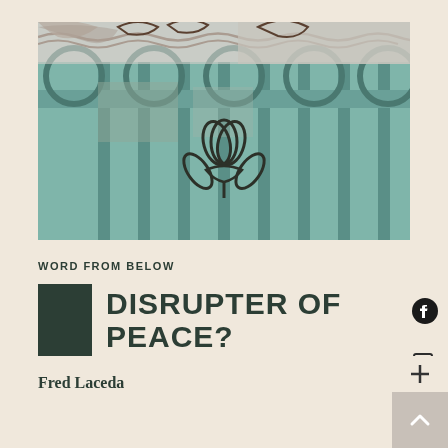[Figure (photo): A weathered teal/turquoise metal gate with circular decorative elements and barbed wire on top, featuring a lotus flower design in the center panel]
WORD FROM BELOW
DISRUPTER OF PEACE?
Fred Laceda